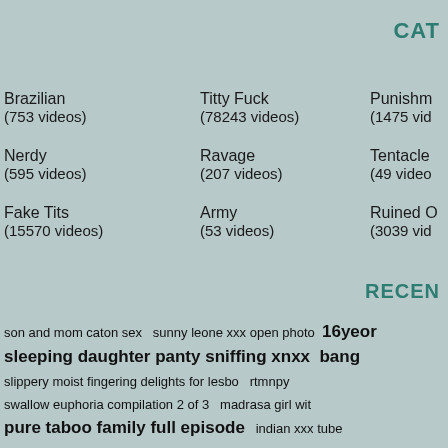CAT
Brazilian (753 videos)
Nerdy (595 videos)
Fake Tits (15570 videos)
Titty Fuck (78243 videos)
Ravage (207 videos)
Army (53 videos)
Punishment (1475 videos)
Tentacle (49 videos)
Ruined O (3039 videos)
RECEN
son and mom caton sex  sunny leone xxx open photo  16yeor  sleeping daughter panty sniffing xnxx  bang  slippery moist fingering delights for lesbo  rtmnpy  swallow euphoria compilation 2 of 3  madrasa girl wi  pure taboo family full episode  indian xxx tube